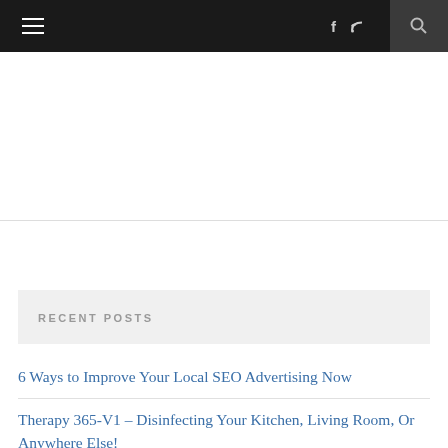Navigation bar with hamburger menu, f, RSS, and search icons
RECENT POSTS
6 Ways to Improve Your Local SEO Advertising Now
Therapy 365-V1 – Disinfecting Your Kitchen, Living Room, Or Anywhere Else!
The Ultimate Guide to the Best Cryptocurrency Trading Platforms